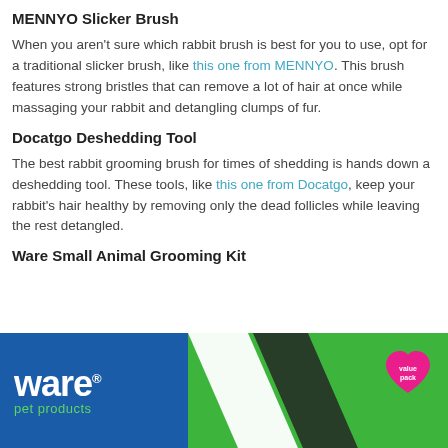MENNYO Slicker Brush
When you aren't sure which rabbit brush is best for you to use, opt for a traditional slicker brush, like this one from MENNYO. This brush features strong bristles that can remove a lot of hair at once while massaging your rabbit and detangling clumps of fur.
Docatgo Deshedding Tool
The best rabbit grooming brush for times of shedding is hands down a deshedding tool. These tools, like this one from Docatgo, keep your rabbit's hair healthy by removing only the dead follicles while leaving the rest detangled.
Ware Small Animal Grooming Kit
[Figure (photo): Ware pet products packaging photo showing blue background with Ware logo on left and green background with pink heart badge on right, with a diagonal white/dark bar across the image.]